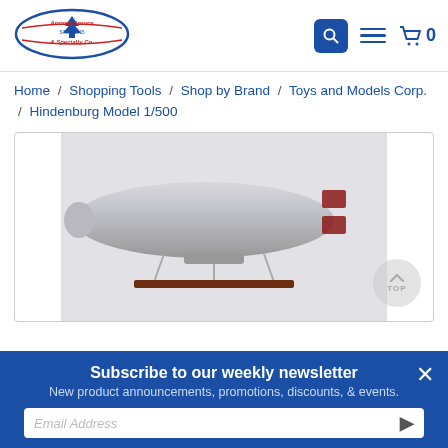[Figure (logo): Aircraft Spruce & Specialty Co. logo with tree emblem, red and blue colors, 'Since 1965' text]
Home / Shopping Tools / Shop by Brand / Toys and Models Corp. / Hindenburg Model 1/500
[Figure (photo): Scale model of the Hindenburg airship (blimp), silver metallic body on a wooden base, with swastika tail fins, against a light gray background. A 'TOP' navigation button is visible in the lower right corner.]
Subscribe to our weekly newsletter
New product announcements, promotions, discounts, & events.
Email Address